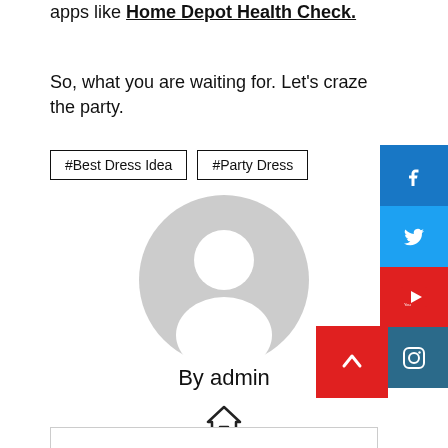apps like Home Depot Health Check.
So, what you are waiting for. Let's craze the party.
#Best Dress Idea
#Party Dress
[Figure (illustration): Generic user avatar - grey circle with person silhouette]
By admin
[Figure (illustration): Home icon]